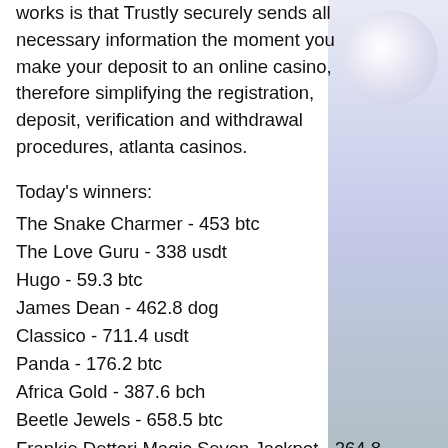works is that Trustly securely sends all necessary information the moment you make your deposit to an online casino, therefore simplifying the registration, deposit, verification and withdrawal procedures, atlanta casinos.
Today's winners:
The Snake Charmer - 453 btc
The Love Guru - 338 usdt
Hugo - 59.3 btc
James Dean - 462.8 dog
Classico - 711.4 usdt
Panda - 176.2 btc
Africa Gold - 387.6 bch
Beetle Jewels - 658.5 btc
Frankie Dettori Magic Seven Jackpot - 264.8 btc
Fast Lane - 679.7 ltc
Jolly Beluga Whales - 115.7 usdt
Samba Brazil - 180.6 usdt
Jokerizer - 306.5 btc